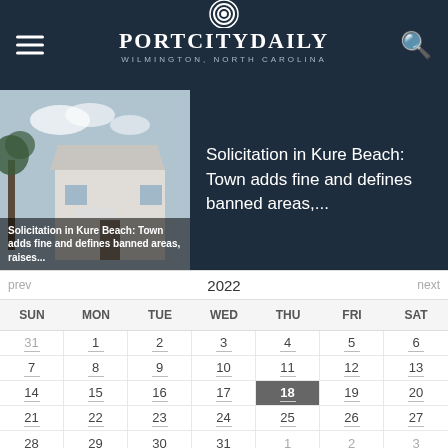PortCityDaily - Wilmington, North Carolina
Solicitation in Kure Beach: Town adds fine and defines banned areas,...
[Figure (screenshot): Screenshot of PortCityDaily website showing a news article about Kure Beach solicitation law with a building photo and a calendar view for 2022 showing dates with Thursday 18 highlighted]
| SUN | MON | TUE | WED | THU | FRI | SAT |
| --- | --- | --- | --- | --- | --- | --- |
| 31 | 1 | 2 | 3 | 4 | 5 | 6 |
| 7 | 8 | 9 | 10 | 11 | 12 | 13 |
| 14 | 15 | 16 | 17 | 18 | 19 | 20 |
| 21 | 22 | 23 | 24 | 25 | 26 | 27 |
| 28 | 29 | 30 | 31 | 1 | 2 | 3 |